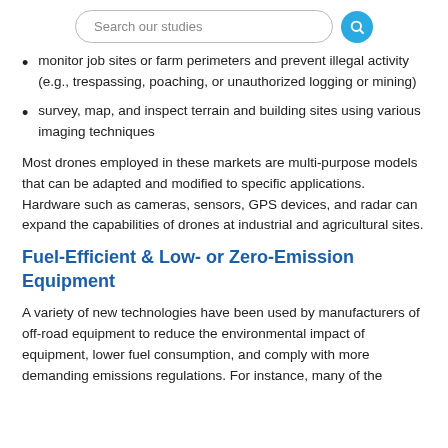Search our studies
monitor job sites or farm perimeters and prevent illegal activity (e.g., trespassing, poaching, or unauthorized logging or mining)
survey, map, and inspect terrain and building sites using various imaging techniques
Most drones employed in these markets are multi-purpose models that can be adapted and modified to specific applications. Hardware such as cameras, sensors, GPS devices, and radar can expand the capabilities of drones at industrial and agricultural sites.
Fuel-Efficient & Low- or Zero-Emission Equipment
A variety of new technologies have been used by manufacturers of off-road equipment to reduce the environmental impact of equipment, lower fuel consumption, and comply with more demanding emissions regulations. For instance, many of the